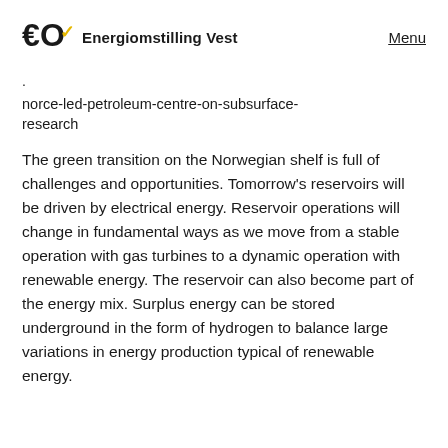EOV Energiomstilling Vest   Menu
norce-led-petroleum-centre-on-subsurface-research
The green transition on the Norwegian shelf is full of challenges and opportunities. Tomorrow's reservoirs will be driven by electrical energy. Reservoir operations will change in fundamental ways as we move from a stable operation with gas turbines to a dynamic operation with renewable energy. The reservoir can also become part of the energy mix. Surplus energy can be stored underground in the form of hydrogen to balance large variations in energy production typical of renewable energy.